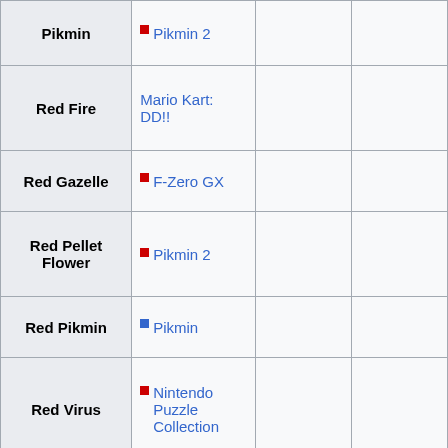| Pikmin | Pikmin 2 |  |  |
| Red Fire | Mario Kart: DD!! |  |  |
| Red Gazelle | F-Zero GX |  |  |
| Red Pellet Flower | Pikmin 2 |  |  |
| Red Pikmin | Pikmin |  |  |
| Red Virus | Nintendo Puzzle Collection |  |  |
| ReDead | Zelda: Ocarina of Time |  |  |
| Revolver Ocelot | MGS2: Sons of Liberty |  |  |
| Ricky Winterborn | 1080° Avalanche |  |  |
| Ridley | Metroid |  |  |